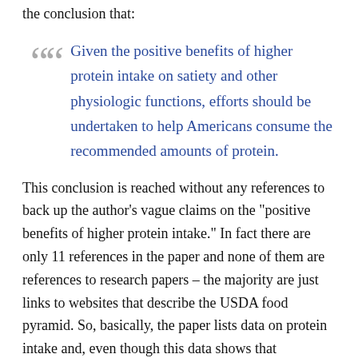the conclusion that:
Given the positive benefits of higher protein intake on satiety and other physiologic functions, efforts should be undertaken to help Americans consume the recommended amounts of protein.
This conclusion is reached without any references to back up the author’s vague claims on the “positive benefits of higher protein intake.” In fact there are only 11 references in the paper and none of them are references to research papers – the majority are just links to websites that describe the USDA food pyramid. So, basically, the paper lists data on protein intake and, even though this data shows that